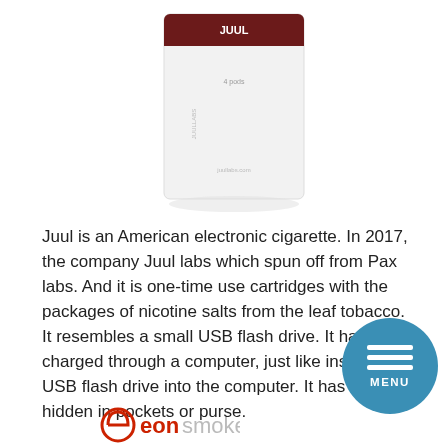[Figure (photo): Product image of a Juul e-cigarette box/package, white and dark red coloring, on white background]
Juul is an American electronic cigarette. In 2017, the company Juul labs which spun off from Pax labs. And it is one-time use cartridges with the packages of nicotine salts from the leaf tobacco. It resembles a small USB flash drive. It has charged through a computer, just like inserting a USB flash drive into the computer. It has easily hidden in pockets or purse.
Founders of Juul:
Adam Bowen and James Monsees, two former chain smokers, are the
[Figure (logo): Eon Smoke logo with stylized e symbol in red and 'eon smoke' text]
[Figure (other): Blue circular menu button overlay with hamburger lines and MENU label]